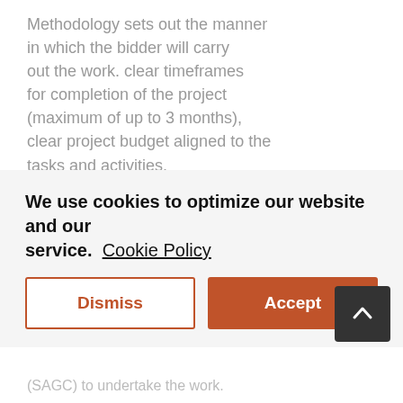Methodology sets out the manner in which the bidder will carry out the work. clear timeframes for completion of the project (maximum of up to 3 months), clear project budget aligned to the tasks and activities.
Expertise: The criteria that is to be used is as follows: proven experience in Strategic GIS
We use cookies to optimize our website and our service.  Cookie Policy
(SAGC) to undertake the work.